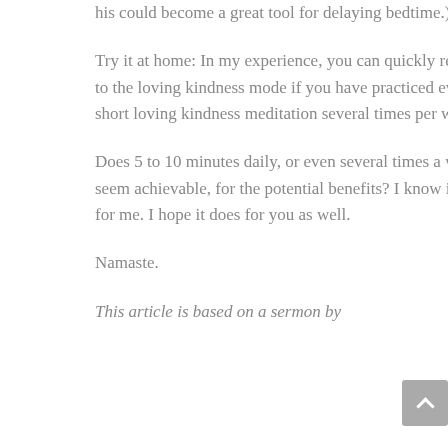his could become a great tool for delaying bedtime.)
Try it at home: In my experience, you can quickly return to the loving kindness mode if you have practiced even a short loving kindness meditation several times per week.
Does 5 to 10 minutes daily, or even several times a week seem achievable, for the potential benefits? I know it is for me. I hope it does for you as well.
Namaste.
This article is based on a sermon by